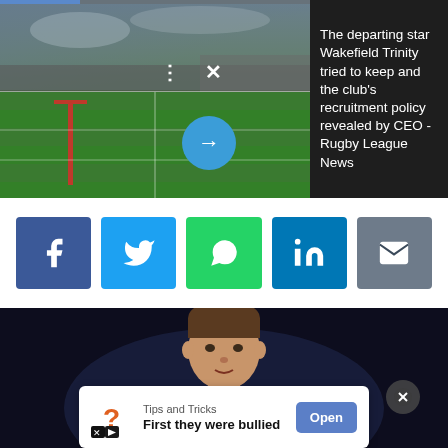[Figure (photo): Rugby stadium pitch with goalposts, with a play arrow button and video controls overlay. Top progress bar visible. News headline text on dark right panel: 'The departing star Wakefield Trinity tried to keep and the club's recruitment policy revealed by CEO - Rugby League News']
The departing star Wakefield Trinity tried to keep and the club's recruitment policy revealed by CEO - Rugby League News
[Figure (infographic): Row of social media share buttons: Facebook (blue), Twitter (light blue), WhatsApp (green), LinkedIn (blue), Email (grey)]
[Figure (photo): Rugby player in yellow and blue kit photographed against dark blurred background, with close (X) button overlay and advertisement banner at bottom reading 'Tips and Tricks - First they were bullied' with Open button]